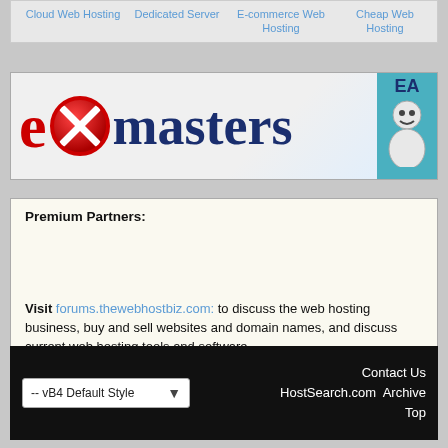| Cloud Web Hosting | Dedicated Server | E-commerce Web Hosting | Cheap Web Hosting |
[Figure (logo): exmasters logo banner with large stylized red 'e', red circle-X graphic, and dark blue 'masters' text on light diagonal background, with teal panel on right showing 'EA' text and partial illustration]
Premium Partners:
Visit forums.thewebhostbiz.com: to discuss the web hosting business, buy and sell websites and domain names, and discuss current web hosting tools and software.
-- vB4 Default Style   Contact Us  HostSearch.com  Archive  Top